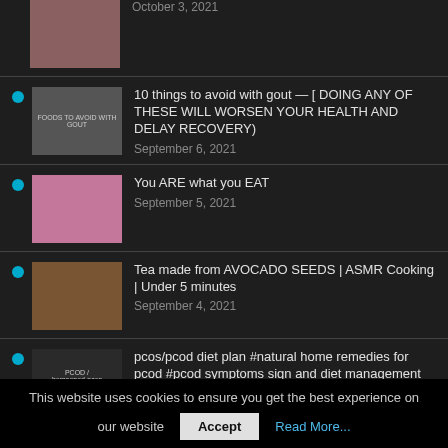October 3, 2021
10 things to avoid with gout — [ DOING ANY OF THESE WILL WORSEN YOUR HEALTH AND DELAY RECOVERY)
September 6, 2021
You ARE what you EAT
September 5, 2021
Tea made from AVOCADO SEEDS | ASMR Cooking | Under 5 minutes
September 4, 2021
pcos/pcod diet plan #natural home remedies for pcod #pcod symptoms sign and diet management
This website uses cookies to ensure you get the best experience on our website  Accept  Read More...